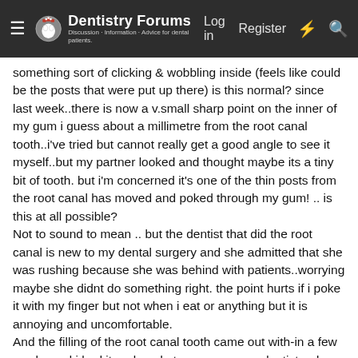Dentistry Forums — Log in | Register
something sort of clicking & wobbling inside (feels like could be the posts that were put up there) is this normal? since last week..there is now a v.small sharp point on the inner of my gum i guess about a millimetre from the root canal tooth..i've tried but cannot really get a good angle to see it myself..but my partner looked and thought maybe its a tiny bit of tooth. but i'm concerned it's one of the thin posts from the root canal has moved and poked through my gum! .. is this at all possible? Not to sound to mean .. but the dentist that did the root canal is new to my dental surgery and she admitted that she was rushing because she was behind with patients..worrying maybe she didnt do something right. the point hurts if i poke it with my finger but not when i eat or anything but it is annoying and uncomfortable. And the filling of the root canal tooth came out with-in a few weeks and i had it replaced at an emergency dentist a day later with a temporary filling which is still in there a month or so since. can someone help?? do i go to the dentist?